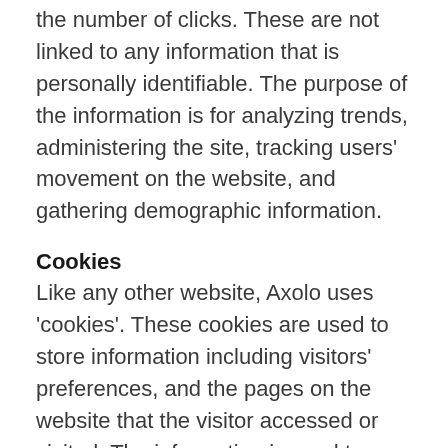the number of clicks. These are not linked to any information that is personally identifiable. The purpose of the information is for analyzing trends, administering the site, tracking users' movement on the website, and gathering demographic information.
Cookies
Like any other website, Axolo uses 'cookies'. These cookies are used to store information including visitors' preferences, and the pages on the website that the visitor accessed or visited. The information is used to optimize the users' experience by customizing our web page content based on visitors' browser type and/or other information.